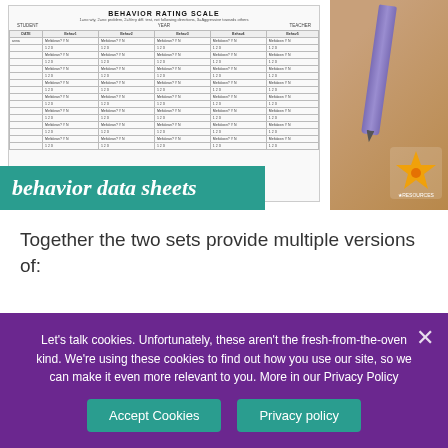[Figure (photo): A behavior rating scale form/data sheet on a wooden desk, with a purple/violet pen resting on it. The form has a grid with student data entries. A teal overlay label reads 'behavior data sheets' in italic white text. A small star logo is visible in the lower right of the photo.]
Together the two sets provide multiple versions of:
Rating Scales
Self-graphing Instructional Sheets
Let's talk cookies. Unfortunately, these aren't the fresh-from-the-oven kind. We're using these cookies to find out how you use our site, so we can make it even more relevant to you. More in our Privacy Policy
Accept Cookies
Privacy policy